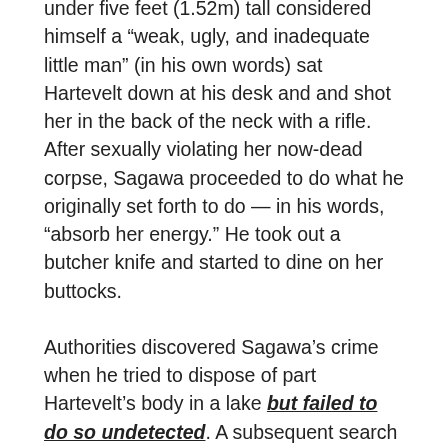under five feet (1.52m) tall considered himself a “weak, ugly, and inadequate little man” (in his own words) sat Hartevelt down at his desk and and shot her in the back of the neck with a rifle. After sexually violating her now-dead corpse, Sagawa proceeded to do what he originally set forth to do — in his words, “absorb her energy.” He took out a butcher knife and started to dine on her buttocks.
Authorities discovered Sagawa’s crime when he tried to dispose of part Hartevelt’s body in a lake but failed to do so undetected. A subsequent search of his home uncovered uneaten parts of Hartevelt’s remains in his freezer. He was kept in a French prison for two years while his case was being adjudicated. He never made it to a verdict —